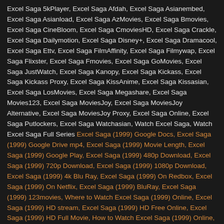Excel Saga 5kPlayer, Excel Saga Afdah, Excel Saga Asianembed, Excel Saga Asianload, Excel Saga AzMovies, Excel Saga Bmovies, Excel Saga CineBloom, Excel Saga CmoviesHD, Excel Saga Crackle, Excel Saga Dailymotion, Excel Saga Disney+, Excel Saga Dramacool, Excel Saga Ettv, Excel Saga FilmAffinity, Excel Saga Filmywap, Excel Saga Flixster, Excel Saga Fmovies, Excel Saga GoMovies, Excel Saga JustWatch, Excel Saga Kanopy, Excel Saga Kickass, Excel Saga Kickass Proxy, Excel Saga KissAnime, Excel Saga Kissasian, Excel Saga LosMovies, Excel Saga Megashare, Excel Saga Movies123, Excel Saga MoviesJoy, Excel Saga MoviesJoy Alternative, Excel Saga MoviesJoy Proxy, Excel Saga Online, Excel Saga Putlockers, Excel Saga Watchasian, Watch Excel Saga, Watch Excel Saga Full Series Excel Saga (1999) Google Docs, Excel Saga (1999) Google Drive mp4, Excel Saga (1999) Movie Length, Excel Saga (1999) Google Play, Excel Saga (1999) 480p Download, Excel Saga (1999) 720p Download, Excel Saga (1999) 1080p Download, Excel Saga (1999) 4k Blu Ray, Excel Saga (1999) On Redbox, Excel Saga (1999) On Netflix, Excel Saga (1999) BluRay, Excel Saga (1999) 123movies, Where to Watch Excel Saga (1999) Online, Excel Saga (1999) HD stream, Excel Saga (1999) HD Free Online, Excel Saga (1999) HD Full Movie, How to Watch Excel Saga (1999) Online, Rent Excel Saga (1999) Online Movie HD, Excel Saga (1999) Movie Streaming Online, Excel Saga (1999) Movie LIVE Stream, Excel Saga (1999) Movie on Netflix, Watch Excel Saga